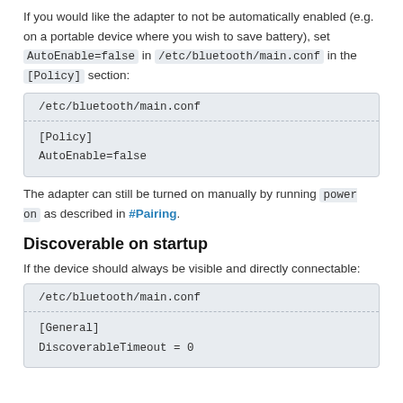If you would like the adapter to not be automatically enabled (e.g. on a portable device where you wish to save battery), set AutoEnable=false in /etc/bluetooth/main.conf in the [Policy] section:
/etc/bluetooth/main.conf
[Policy]
AutoEnable=false
The adapter can still be turned on manually by running power on as described in #Pairing.
Discoverable on startup
If the device should always be visible and directly connectable:
/etc/bluetooth/main.conf
[General]
DiscoverableTimeout = 0